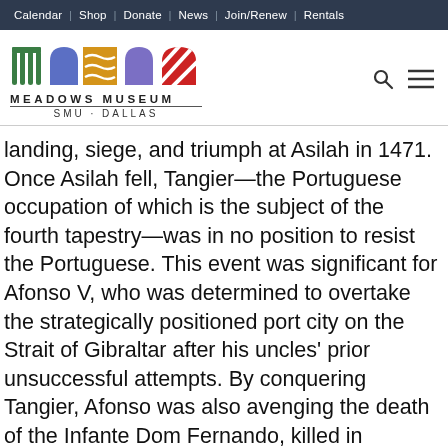Calendar | Shop | Donate | News | Join/Renew | Rentals
[Figure (logo): Meadows Museum SMU Dallas logo with colorful arch icons]
landing, siege, and triumph at Asilah in 1471. Once Asilah fell, Tangier—the Portuguese occupation of which is the subject of the fourth tapestry—was in no position to resist the Portuguese. This event was significant for Afonso V, who was determined to overtake the strategically positioned port city on the Strait of Gibraltar after his uncles' prior unsuccessful attempts. By conquering Tangier, Afonso was also avenging the death of the Infante Dom Fernando, killed in captivity in Fez in 1443.